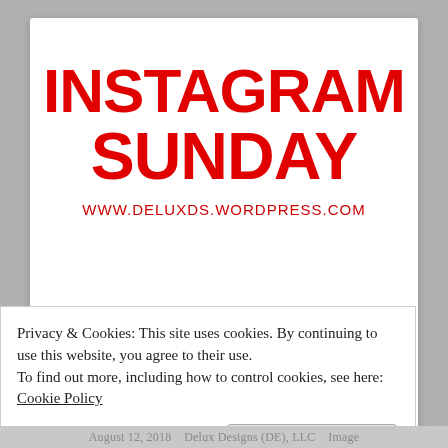[Figure (logo): Instagram Sunday blog logo with red bold text 'INSTAGRAM SUNDAY' and URL 'WWW.DELUXDS.WORDPRESS.COM' below]
Privacy & Cookies: This site uses cookies. By continuing to use this website, you agree to their use.
To find out more, including how to control cookies, see here: Cookie Policy
August 12, 2018    Delux Designs (DE), LLC    Image